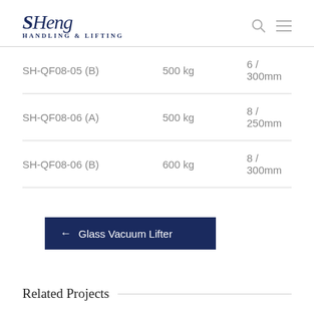SHeng Handling & Lifting
| SH-QF08-05 (B) | 500 kg | 6 / 300mm |
| SH-QF08-06 (A) | 500 kg | 8 / 250mm |
| SH-QF08-06 (B) | 600 kg | 8 / 300mm |
← Glass Vacuum Lifter
Related Projects